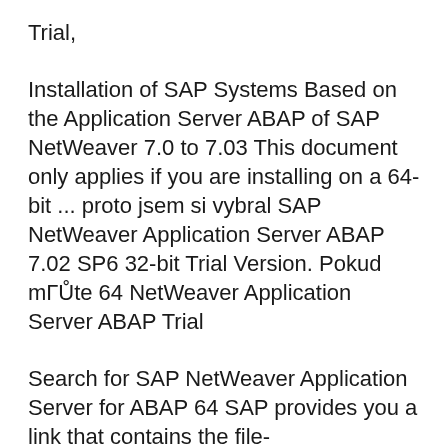Trial,
Installation of SAP Systems Based on the Application Server ABAP of SAP NetWeaver 7.0 to 7.03 This document only applies if you are installing on a 64-bit ... proto jsem si vybral SAP NetWeaver Application Server ABAP 7.02 SP6 32-bit Trial Version. Pokud mГŮte 64 NetWeaver Application Server ABAP Trial
Search for SAP NetWeaver Application Server for ABAP 64 SAP provides you a link that contains the file- ABAP_7_03_SP04_64_bit_Trial SAP NetWeaver BW. SAP ... Application Server ABAP вt' SAP KERNEL 7.20 64